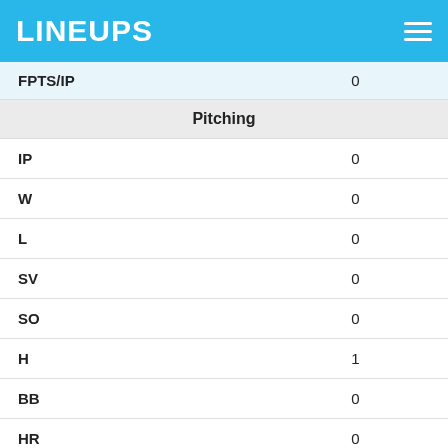LINEUPS
| Stat | Value |
| --- | --- |
| FPTS/IP | 0 |
| Pitching |  |
| IP | 0 |
| W | 0 |
| L | 0 |
| SV | 0 |
| SO | 0 |
| H | 1 |
| BB | 0 |
| HR | 0 |
| R | 1 |
| ERA | 0 |
| WHIP | 0.00 |